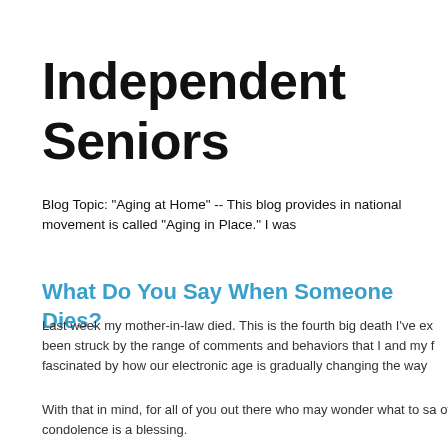Independent Seniors
Blog Topic: "Aging at Home" -- This blog provides in national movement is called "Aging in Place." I was
What Do You Say When Someone Dies?
Last week my mother-in-law died. This is the fourth big death I've ex been struck by the range of comments and behaviors that I and my f fascinated by how our electronic age is gradually changing the way
With that in mind, for all of you out there who may wonder what to sa of condolence is a blessing.